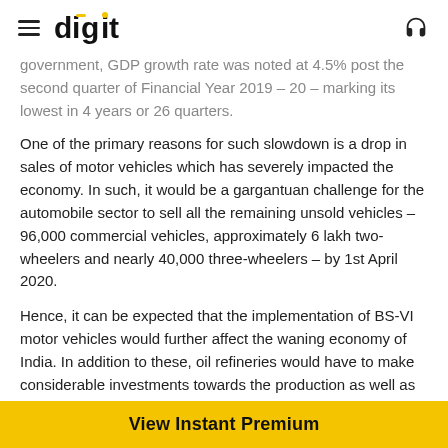digit
government, GDP growth rate was noted at 4.5% post the second quarter of Financial Year 2019 – 20 – marking its lowest in 4 years or 26 quarters.
One of the primary reasons for such slowdown is a drop in sales of motor vehicles which has severely impacted the economy. In such, it would be a gargantuan challenge for the automobile sector to sell all the remaining unsold vehicles – 96,000 commercial vehicles, approximately 6 lakh two-wheelers and nearly 40,000 three-wheelers – by 1st April 2020.
Hence, it can be expected that the implementation of BS-VI motor vehicles would further affect the waning economy of India. In addition to these, oil refineries would have to make considerable investments towards the production as well as
[Figure (other): View Instant Premium yellow button at bottom of page]